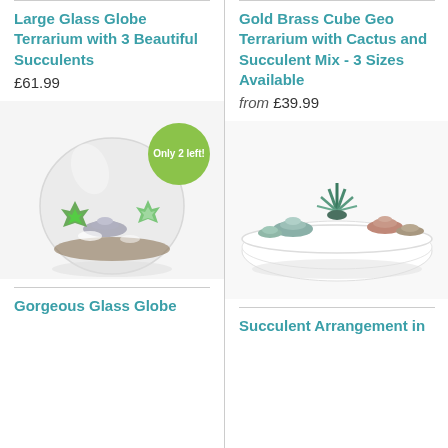Large Glass Globe Terrarium with 3 Beautiful Succulents
£61.99
[Figure (photo): Glass globe terrarium with succulents inside, with a green badge reading 'Only 2 left!']
Gold Brass Cube Geo Terrarium with Cactus and Succulent Mix - 3 Sizes Available
from £39.99
[Figure (photo): White shallow bowl dish with succulents arranged inside, floating/minimalist style]
Gorgeous Glass Globe
Succulent Arrangement in